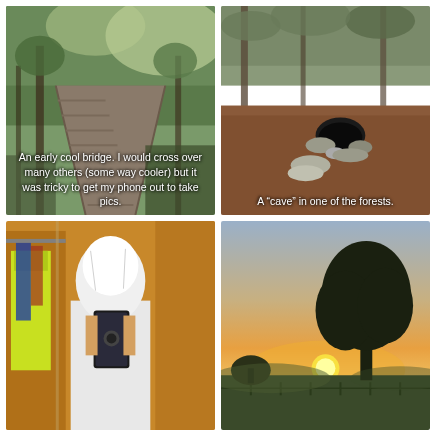[Figure (photo): A wooden boardwalk bridge through a lush green forest with sunlight filtering through the trees. Caption reads: An early cool bridge. I would cross over many others (some way cooler) but it was tricky to get my phone out to take pics.]
[Figure (photo): A forest scene with reddish-brown leaf-covered ground and a cave-like opening in the earth surrounded by rocks and trees. Caption reads: A “cave” in one of the forests.]
[Figure (photo): A mirror selfie of a person wearing a white plastic bag as a makeshift rain cover over their head, holding a smartphone. A neon yellow jacket hangs on the left.]
[Figure (photo): A sunset landscape with a large tree silhouetted against an orange and light blue sky, with the sun just above the horizon.]